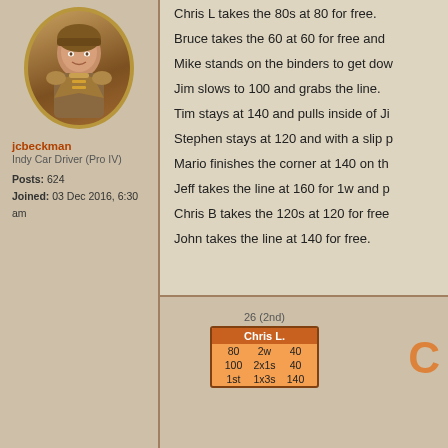[Figure (illustration): Avatar portrait of a fantasy/medieval driver character in an oval frame with gold border]
jcbeckman
Indy Car Driver (Pro IV)
Posts: 624
Joined: 03 Dec 2016, 6:30 am
Chris L takes the 80s at 80 for free.
Bruce takes the 60 at 60 for free and
Mike stands on the binders to get dow
Jim slows to 100 and grabs the line.
Tim stays at 140 and pulls inside of Ji
Stephen stays at 120 and with a slip p
Mario finishes the corner at 140 on th
Jeff takes the line at 160 for 1w and p
Chris B takes the 120s at 120 for free
John takes the line at 140 for free.
[Figure (screenshot): Game card showing Chris L. stats: 26 (2nd), 80/2w/40, 100/2x1s/40, 1st/1x3s/140, with orange C letter]